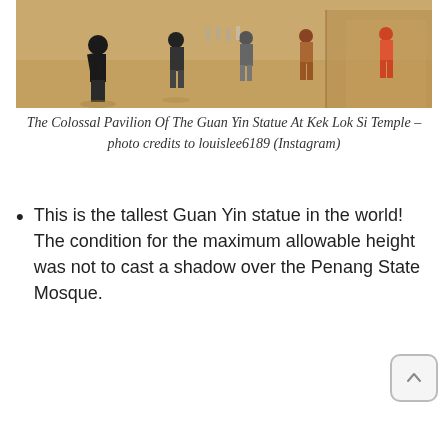[Figure (photo): Photo of the colossal pavilion area at Kek Lok Si Temple with visitors walking around. Warm golden/brown toned image showing people from behind near a large structure.]
The Colossal Pavilion Of The Guan Yin Statue At Kek Lok Si Temple – photo credits to louislee6189 (Instagram)
This is the tallest Guan Yin statue in the world! The condition for the maximum allowable height was not to cast a shadow over the Penang State Mosque.